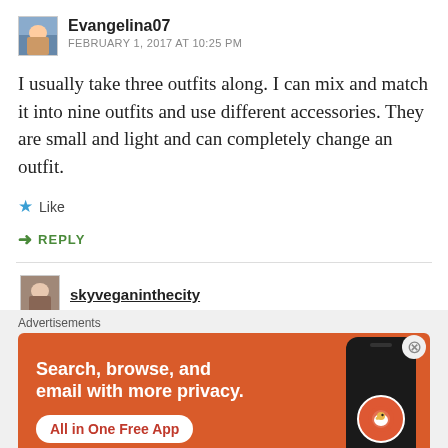Evangelina07
FEBRUARY 1, 2017 AT 10:25 PM
I usually take three outfits along. I can mix and match it into nine outfits and use different accessories. They are small and light and can completely change an outfit.
Like
REPLY
skyveganinthecity
[Figure (screenshot): DuckDuckGo advertisement banner with orange background: 'Search, browse, and email with more privacy. All in One Free App' with phone graphic and DuckDuckGo logo]